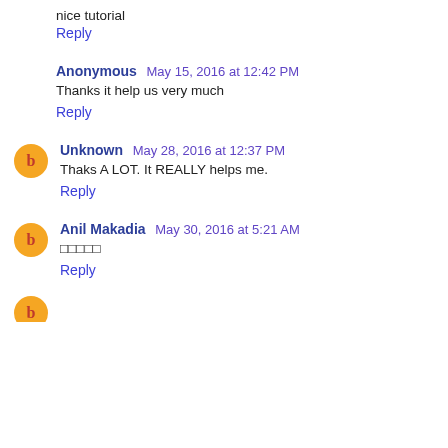nice tutorial
Reply
Anonymous  May 15, 2016 at 12:42 PM
Thanks it help us very much
Reply
Unknown  May 28, 2016 at 12:37 PM
Thaks A LOT. It REALLY helps me.
Reply
Anil Makadia  May 30, 2016 at 5:21 AM
□□□□□
Reply